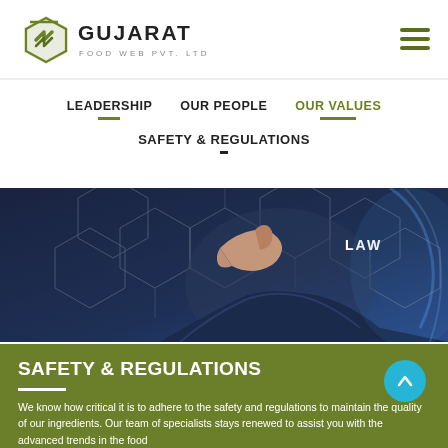[Figure (logo): Gujarat Food Web Pvt. Ltd. logo with green angular G icon]
LEADERSHIP   OUR PEOPLE   OUR VALUES
SAFETY & REGULATIONS
[Figure (photo): A person in a business suit pointing at a holographic hexagonal network with the word LAW highlighted]
SAFETY & REGULATIONS
We know how critical it is to adhere to the safety and regulations to maintain the quality of our ingredients. Our team of specialists stays renewed to assist you with the advanced trends in the food